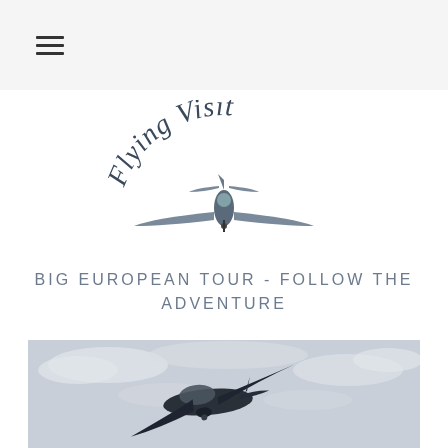≡ (hamburger menu)
[Figure (logo): Flying Visit logo with arched text 'Flying Visit' above a front-facing small aircraft illustration]
BIG EUROPEAN TOUR - FOLLOW THE ADVENTURE
[Figure (photo): A small single-engine aircraft flying in a partly cloudy sky, photographed from the side/slightly below]